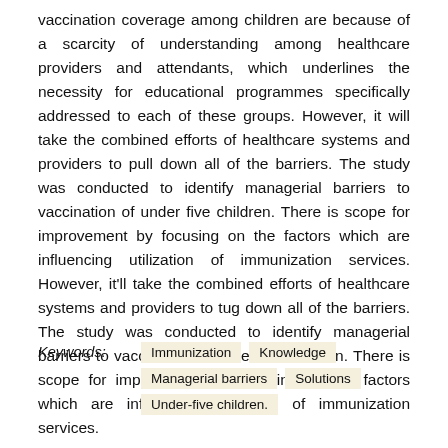vaccination coverage among children are because of a scarcity of understanding among healthcare providers and attendants, which underlines the necessity for educational programmes specifically addressed to each of these groups. However, it will take the combined efforts of healthcare systems and providers to pull down all of the barriers. The study was conducted to identify managerial barriers to vaccination of under five children. There is scope for improvement by focusing on the factors which are influencing utilization of immunization services. However, it'll take the combined efforts of healthcare systems and providers to tug down all of the barriers. The study was conducted to identify managerial barriers to vaccination of under five children. There is scope for improvement by focusing on the factors which are influencing utilization of immunization services.
Keywords: Immunization  Knowledge  Managerial barriers  Solutions  Under-five children.